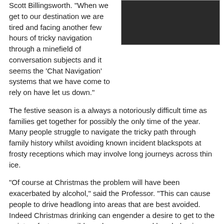Scott Billingsworth. "When we get to our destination we are tired and facing another few hours of tricky navigation through a minefield of conversation subjects and it seems the 'Chat Navigation' systems that we have come to rely on have let us down."
[Figure (photo): A person holding a small device, shown in dim lighting]
The festive season is a always a notoriously difficult time as families get together for possibly the only time of the year. Many people struggle to navigate the tricky path through family history whilst avoiding known incident blackspots at frosty receptions which may involve long journeys across thin ice.
“Of course at Christmas the problem will have been exacerbated by alcohol,” said the Professor. “This can cause people to drive headlong into areas that are best avoided. Indeed Christmas drinking can engender a desire to get to the point as fast as possible and can cause reckless behaviour and lead to the one driving the conversation to misread even the most unmistakeable of warning signs.”